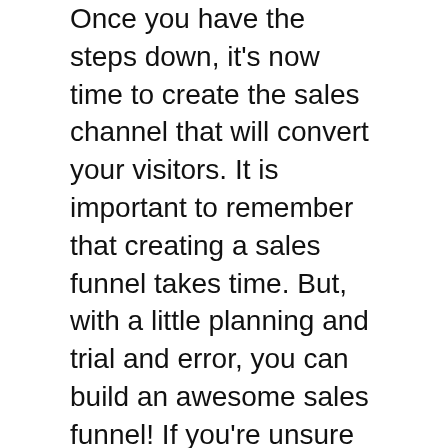Once you have the steps down, it's now time to create the sales channel that will convert your visitors. It is important to remember that creating a sales funnel takes time. But, with a little planning and trial and error, you can build an awesome sales funnel! If you're unsure of how to build a sales funnel, Leadpages can help you create one! With their high-converting landing pages, pop-ups, and alert bars, Leadpages can help you build a great sales funnel.
The sales funnel is an integral part of any marketing strategy. It shows the path from potential buyers to becoming customers. The funnel begins with potential customers who visit your website to learn more about you product. They will take a quiz, view other